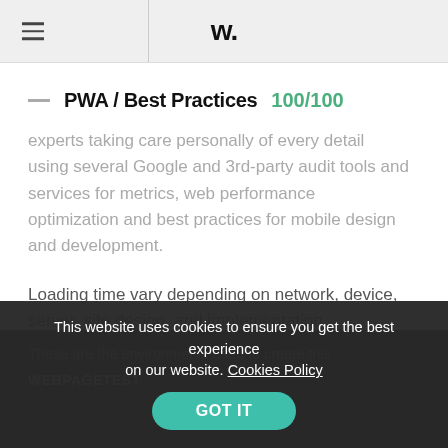W.
PWA / Best Practices  100/100
experts taking care personally of every detail using several Google and 3rd-party audit tools and services for metrics, web performance optimization and best practices for mobile design and development.
Loading time vary depending on network, device, server, site design, and implementation.
These are the environments used to create this
WEBPAGETEST
This website uses cookies to ensure you get the best experience on our website. Cookies Policy